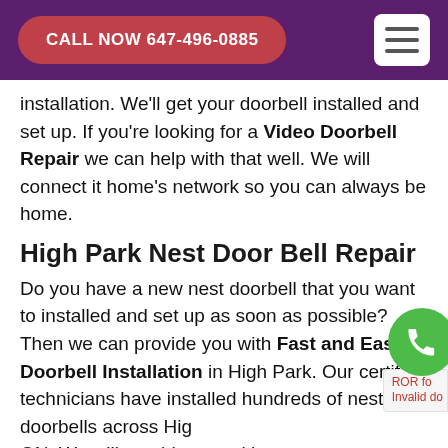CALL NOW 647-496-0885
installation. We'll get your doorbell installed and set up. If you're looking for a Video Doorbell Repair we can help with that well. We will connect it home's network so you can always be home.
High Park Nest Door Bell Repair
Do you have a new nest doorbell that you want to installed and set up as soon as possible? Then we can provide you with Fast and Easy Doorbell Installation in High Park. Our certified technicians have installed hundreds of nest doorbells across High Park, ON. We will provide you with support and guidance so that you can have peace of mind about your service. Our service is a best High Park